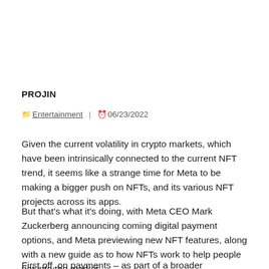PROJIN
Entertainment  |  06/23/2022
Given the current volatility in crypto markets, which have been intrinsically connected to the current NFT trend, it seems like a strange time for Meta to be making a bigger push on NFTs, and its various NFT projects across its apps.
But that's what it's doing, with Meta CEO Mark Zuckerberg announcing coming digital payment options, and Meta previewing new NFT features, along with a new guide as to how NFTs work to help people get into the market.
First off, on payments – as part of a broader confirmation of the